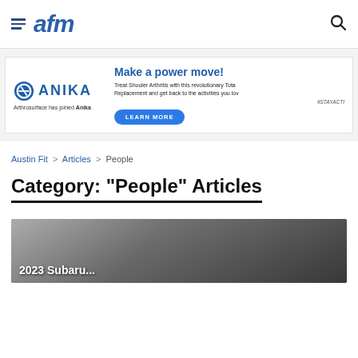afm
[Figure (other): Anika advertisement banner: Make a power move! Treat Shoulder Arthritis with this revolutionary Total Replacement and get back to the activities you love. LEARN MORE button.]
Austin Fit > Articles > People
Category: "People" Articles
[Figure (photo): Article preview image — dark photo with overlay text '2023 Subaru']